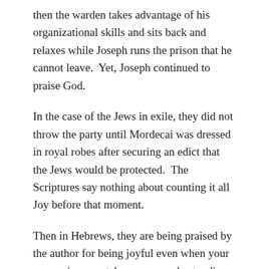then the warden takes advantage of his organizational skills and sits back and relaxes while Joseph runs the prison that he cannot leave.  Yet, Joseph continued to praise God.
In the case of the Jews in exile, they did not throw the party until Mordecai was dressed in royal robes after securing an edict that the Jews would be protected.  The Scriptures say nothing about counting it all Joy before that moment.
Then in Hebrews, they are being praised by the author for being joyful even when your possessions are taken away, understanding where their lasting possessions are being kept, in Heaven.